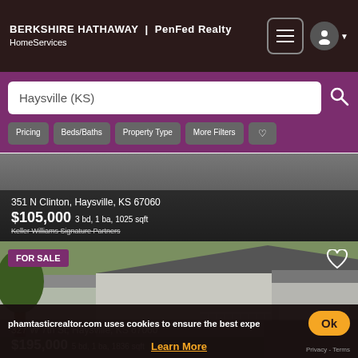BERKSHIRE HATHAWAY | PenFed Realty HomeServices
Haysville (KS)
Pricing
Beds/Baths
Property Type
More Filters
351 N Clinton, Haysville, KS 67060
$105,000 3 bd, 1 ba, 1025 sqft
Keller Williams Signature Partners
[Figure (photo): Exterior photo of a residential property at 351 N Clinton, Haysville KS 67060, showing a house and yard]
FOR SALE
[Figure (photo): Exterior photo of a ranch-style house at 327 W 7th St, Haysville KS 67060 with white siding, front porch with white railings, and detached garage]
327 W 7th St, Haysville, KS 67060
$195,000 5 bd, 1 ba, 1836 sqft
phamtasticrealtor.com uses cookies to ensure the best expe
Ok
Learn More
Privacy - Terms